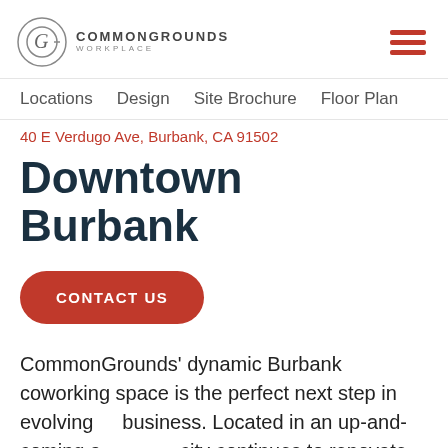CommonGrounds Workplace [logo] [hamburger menu]
Locations  Design  Site Brochure  Floor Plan
40 E Verdugo Ave, Burbank, CA 91502
Downtown Burbank
CONTACT US
CommonGrounds' dynamic Burbank coworking space is the perfect next step in evolving your business. Located in an up-and-coming area, the city continues to renovate the downtown and